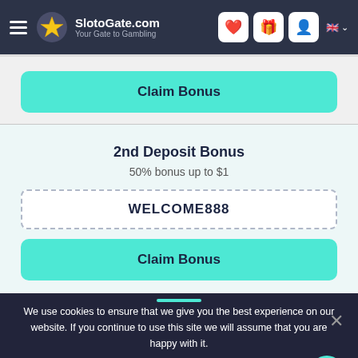SlotoGate.com — Your Gate to Gambling
Claim Bonus
2nd Deposit Bonus
50% bonus up to $1
WELCOME888
Claim Bonus
We use cookies to ensure that we give you the best experience on our website. If you continue to use this site we will assume that you are happy with it.
Ok